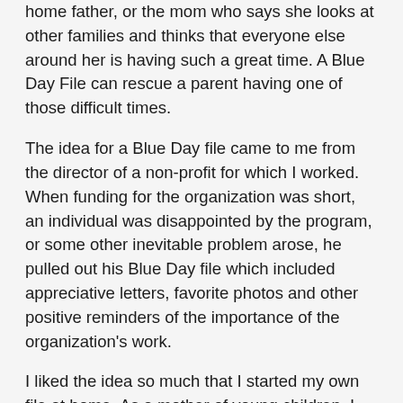home father, or the mom who says she looks at other families and thinks that everyone else around her is having such a great time. A Blue Day File can rescue a parent having one of those difficult times.
The idea for a Blue Day file came to me from the director of a non-profit for which I worked. When funding for the organization was short, an individual was disappointed by the program, or some other inevitable problem arose, he pulled out his Blue Day file which included appreciative letters, favorite photos and other positive reminders of the importance of the organization's work.
I liked the idea so much that I started my own file at home. As a mother of young children, I had many challenging times and days. On such occasions, usually it was late at night, I could pull out my Blue Day File which not to offer where me for that I didn't take